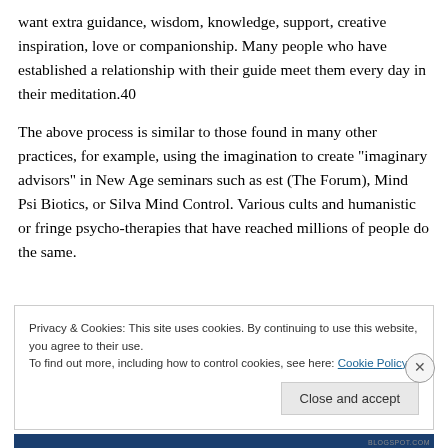want extra guidance, wisdom, knowledge, support, creative inspiration, love or companionship. Many people who have established a relationship with their guide meet them every day in their meditation.40
The above process is similar to those found in many other practices, for example, using the imagination to create “imaginary advisors” in New Age seminars such as est (The Forum), Mind Psi Biotics, or Silva Mind Control. Various cults and humanistic or fringe psycho-therapies that have reached millions of people do the same.
Privacy & Cookies: This site uses cookies. By continuing to use this website, you agree to their use.
To find out more, including how to control cookies, see here: Cookie Policy